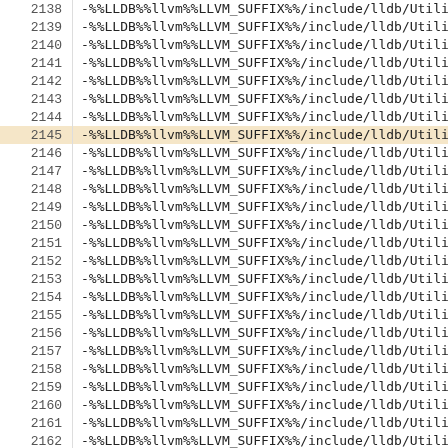| line | code |
| --- | --- |
| 2138 | -%%LLDB%%llvm%%LLVM_SUFFIX%%/include/lldb/Utility/Connec |
| 2139 | -%%LLDB%%llvm%%LLVM_SUFFIX%%/include/lldb/Utility/ConstS |
| 2140 | -%%LLDB%%llvm%%LLVM_SUFFIX%%/include/lldb/Utility/DataBu |
| 2141 | -%%LLDB%%llvm%%LLVM_SUFFIX%%/include/lldb/Utility/DataBu |
| 2142 | -%%LLDB%%llvm%%LLVM_SUFFIX%%/include/lldb/Utility/DataBu |
| 2143 | -%%LLDB%%llvm%%LLVM_SUFFIX%%/include/lldb/Utility/DataEn |
| 2144 | -%%LLDB%%llvm%%LLVM_SUFFIX%%/include/lldb/Utility/DataEx |
| 2145 | -%%LLDB%%llvm%%LLVM_SUFFIX%%/include/lldb/Utility/Either |
| 2146 | -%%LLDB%%llvm%%LLVM_SUFFIX%%/include/lldb/Utility/Endian |
| 2147 | -%%LLDB%%llvm%%LLVM_SUFFIX%%/include/lldb/Utility/Enviro |
| 2148 | -%%LLDB%%llvm%%LLVM_SUFFIX%%/include/lldb/Utility/FastDe |
| 2149 | -%%LLDB%%llvm%%LLVM_SUFFIX%%/include/lldb/Utility/FileSp |
| 2150 | -%%LLDB%%llvm%%LLVM_SUFFIX%%/include/lldb/Utility/Flags. |
| 2151 | -%%LLDB%%llvm%%LLVM_SUFFIX%%/include/lldb/Utility/IOObje |
| 2152 | -%%LLDB%%llvm%%LLVM_SUFFIX%%/include/lldb/Utility/Iterab |
| 2153 | -%%LLDB%%llvm%%LLVM_SUFFIX%%/include/lldb/Utility/JSON.h |
| 2154 | -%%LLDB%%llvm%%LLVM_SUFFIX%%/include/lldb/Utility/LLDBAs |
| 2155 | -%%LLDB%%llvm%%LLVM_SUFFIX%%/include/lldb/Utility/Log.h |
| 2156 | -%%LLDB%%llvm%%LLVM_SUFFIX%%/include/lldb/Utility/Loggin |
| 2157 | -%%LLDB%%llvm%%LLVM_SUFFIX%%/include/lldb/Utility/NameMa |
| 2158 | -%%LLDB%%llvm%%LLVM_SUFFIX%%/include/lldb/Utility/Range. |
| 2159 | -%%LLDB%%llvm%%LLVM_SUFFIX%%/include/lldb/Utility/Regula |
| 2160 | -%%LLDB%%llvm%%LLVM_SUFFIX%%/include/lldb/Utility/SafeMa |
| 2161 | -%%LLDB%%llvm%%LLVM_SUFFIX%%/include/lldb/Utility/Select |
| 2162 | -%%LLDB%%llvm%%LLVM_SUFFIX%%/include/lldb/Utility/Shared |